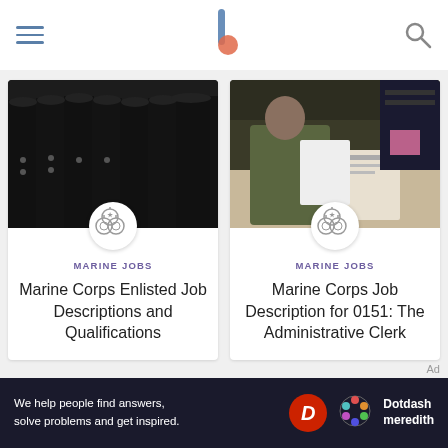Navigation bar with hamburger menu, logo, and search icon
[Figure (photo): Marines in dress uniform standing in formation]
MARINE JOBS
Marine Corps Enlisted Job Descriptions and Qualifications
[Figure (photo): Marine in camouflage uniform reading a document at a desk]
MARINE JOBS
Marine Corps Job Description for 0151: The Administrative Clerk
Ad
[Figure (other): Dotdash Meredith advertisement banner: We help people find answers, solve problems and get inspired.]